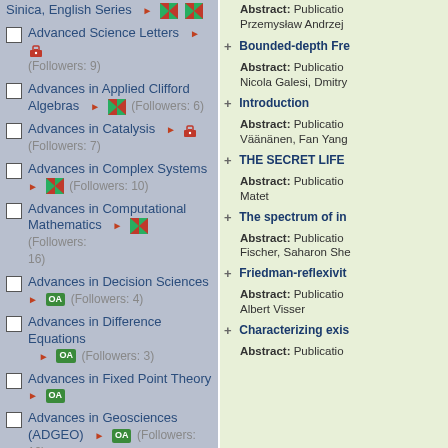Sinica, English Series ► [icon] [icon]
Advanced Science Letters ► [lock] (Followers: 9)
Advances in Applied Clifford Algebras ► [icon] (Followers: 6)
Advances in Catalysis ► [lock] (Followers: 7)
Advances in Complex Systems ► [icon] (Followers: 10)
Advances in Computational Mathematics ► [icon] (Followers: 16)
Advances in Decision Sciences ► OA (Followers: 4)
Advances in Difference Equations ► OA (Followers: 3)
Advances in Fixed Point Theory ► OA
Advances in Geosciences (ADGEO) ► OA (Followers: 19)
Advances in Linear Algebra & Matrix Theory ► OA
Abstract: Publication... Przemysław Andrzej...
+ Bounded-depth Fre...
Abstract: Publication... Nicola Galesi, Dmitry...
+ Introduction
Abstract: Publication... Väänänen, Fan Yang...
+ THE SECRET LIFE...
Abstract: Publication... Matet
+ The spectrum of in...
Abstract: Publication... Fischer, Saharan She...
+ Friedman-reflexivit...
Abstract: Publication... Albert Visser
+ Characterizing exis...
Abstract: Publication...